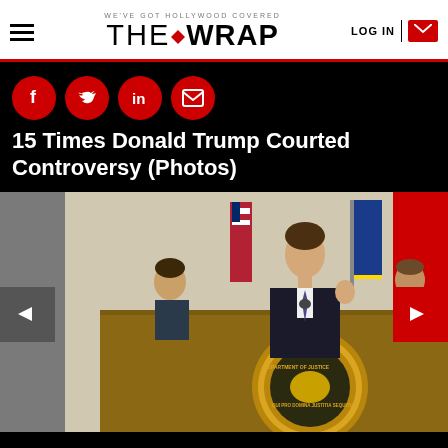THE WRAP — WE'VE GOT HOLLYWOOD COVERED
15 Times Donald Trump Courted Controversy (Photos)
[Figure (photo): A man in a dark suit speaks at a podium bearing the US Department of Justice seal, with American and blue flags in the background and two people seated behind him.]